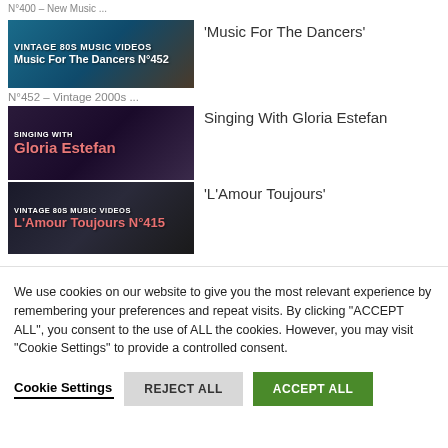N°400 – New Music ...
[Figure (screenshot): Thumbnail for 'Vintage 80s Music Videos – Music For The Dancers N°452' showing bold white text on teal/brown gradient background]
'Music For The Dancers'
N°452 – Vintage 2000s ...
[Figure (screenshot): Thumbnail for 'Singing With Gloria Estefan' showing bold salmon-colored text on dark purple background]
Singing With Gloria Estefan
[Figure (screenshot): Thumbnail for 'Vintage 80s Music Videos – L'Amour Toujours N°415' showing bold salmon-colored text on dark background]
'L'Amour Toujours'
We use cookies on our website to give you the most relevant experience by remembering your preferences and repeat visits. By clicking "ACCEPT ALL", you consent to the use of ALL the cookies. However, you may visit "Cookie Settings" to provide a controlled consent.
Cookie Settings   REJECT ALL   ACCEPT ALL